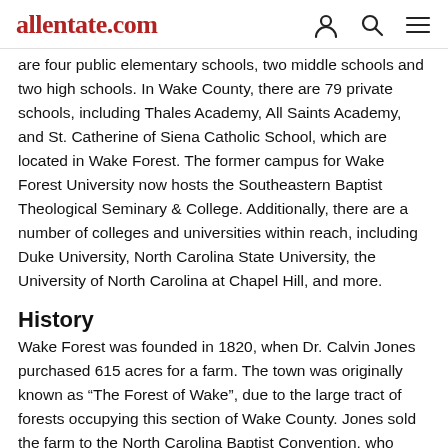allentate.com
are four public elementary schools, two middle schools and two high schools. In Wake County, there are 79 private schools, including Thales Academy, All Saints Academy, and St. Catherine of Siena Catholic School, which are located in Wake Forest. The former campus for Wake Forest University now hosts the Southeastern Baptist Theological Seminary & College. Additionally, there are a number of colleges and universities within reach, including Duke University, North Carolina State University, the University of North Carolina at Chapel Hill, and more.
History
Wake Forest was founded in 1820, when Dr. Calvin Jones purchased 615 acres for a farm. The town was originally known as “The Forest of Wake”, due to the large tract of forests occupying this section of Wake County. Jones sold the farm to the North Carolina Baptist Convention, who eventually opened